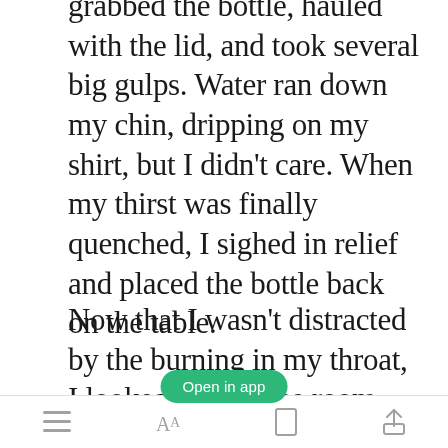grabbed the bottle, hauled with the lid, and took several big gulps. Water ran down my chin, dripping on my shirt, but I didn't care. When my thirst was finally quenched, I sighed in relief and placed the bottle back on the table.
Now that I wasn't distracted by the burning in my throat, I looked around the room properly. A large painting covered the wall in front of
[Figure (screenshot): Green 'Open in app' button overlay]
≡  AA  🔖  ↑